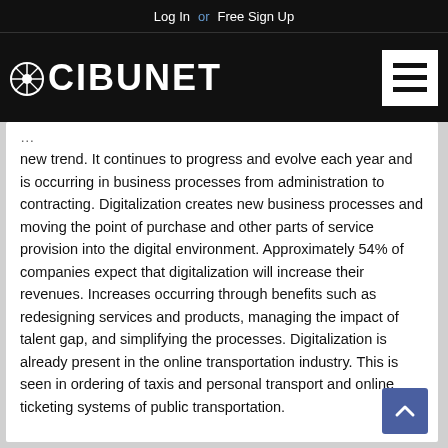Log In  or  Free Sign Up
CIBUNET
new trend. It continues to progress and evolve each year and is occurring in business processes from administration to contracting. Digitalization creates new business processes and moving the point of purchase and other parts of service provision into the digital environment. Approximately 54% of companies expect that digitalization will increase their revenues. Increases occurring through benefits such as redesigning services and products, managing the impact of talent gap, and simplifying the processes. Digitalization is already present in the online transportation industry. This is seen in ordering of taxis and personal transport and online ticketing systems of public transportation.